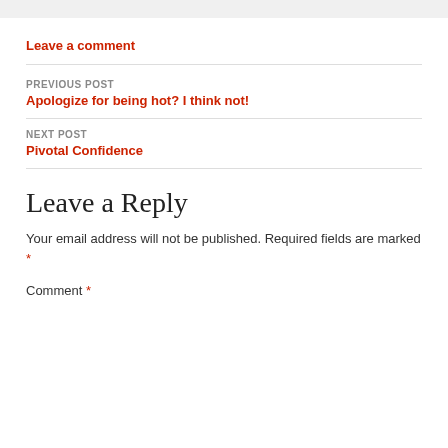Leave a comment
PREVIOUS POST
Apologize for being hot? I think not!
NEXT POST
Pivotal Confidence
Leave a Reply
Your email address will not be published. Required fields are marked *
Comment *